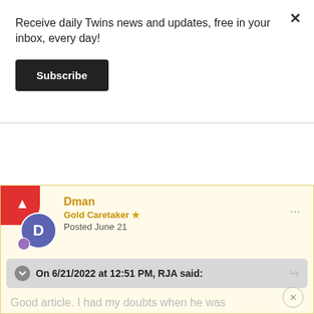Receive daily Twins news and updates, free in your inbox, every day!
Subscribe
Dman
Gold Caretaker ⭐
Posted June 21
On 6/21/2022 at 12:51 PM, RJA said:
Good article. I had my doubts when he was